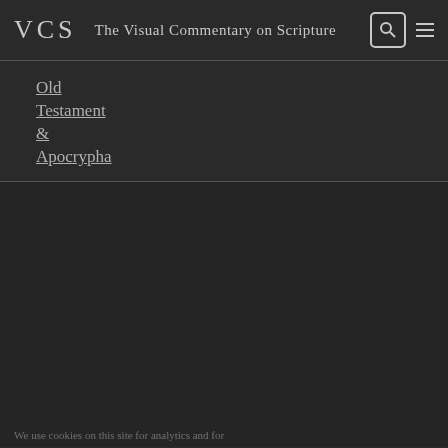VCS The Visual Commentary on Scripture
Old Testament & Apocrypha
We use cookies on this site for analytics and for